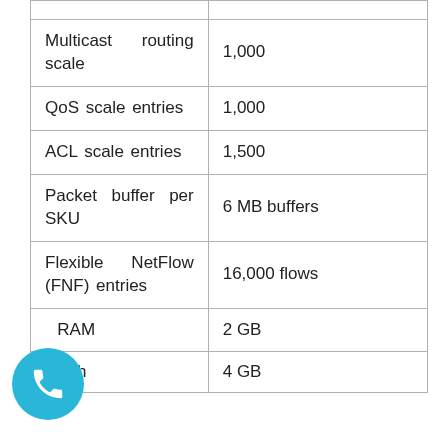| Multicast routing scale | 1,000 |
| QoS scale entries | 1,000 |
| ACL scale entries | 1,500 |
| Packet buffer per SKU | 6 MB buffers |
| Flexible NetFlow (FNF) entries | 16,000 flows |
| RAM | 2 GB |
| Flash | 4 GB |